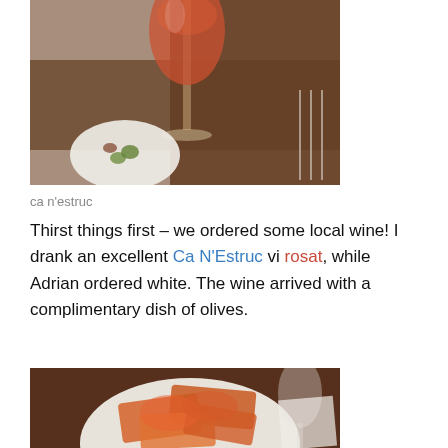[Figure (photo): A restaurant table scene with a glass of rosé wine, white plate, cutlery, and a small dish of olives on a brown tablecloth]
ca n'estruc
Thirst things first – we ordered some local wine! I drank an excellent Ca N'Estruc vi rosat, while Adrian ordered white. The wine arrived with a complimentary dish of olives.
[Figure (photo): A white plate of pan con tomate (bread with tomato topping) on a dark brown tablecloth, with a wine glass visible in the background]